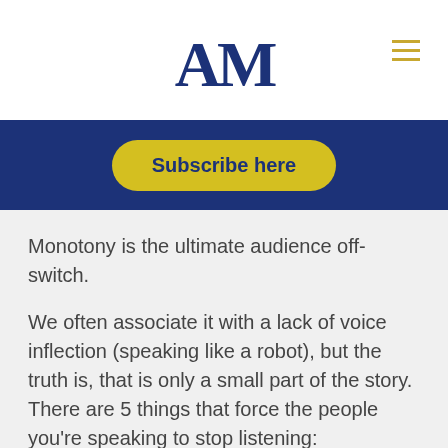AM
Subscribe here
Monotony is the ultimate audience off-switch.
We often associate it with a lack of voice inflection (speaking like a robot), but the truth is, that is only a small part of the story. There are 5 things that force the people you're speaking to stop listening:
1. Pace